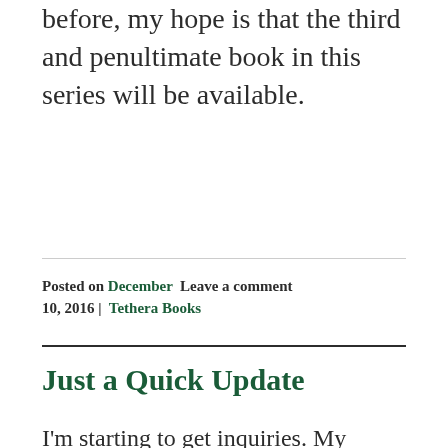before, my hope is that the third and penultimate book in this series will be available.
Posted on December 10, 2016 |  Leave a comment  Tethera Books
Just a Quick Update
I'm starting to get inquiries. My